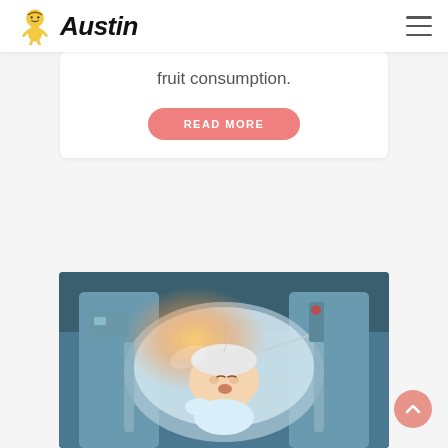Austin
fruit consumption.
READ MORE
[Figure (photo): Newborn baby lying in a medical incubator/neonatal care unit, with hospital equipment visible around it. The baby appears to be in a NICU incubator with a warm orange-yellow glow from a light source. Medical tubing and equipment are visible in the background.]